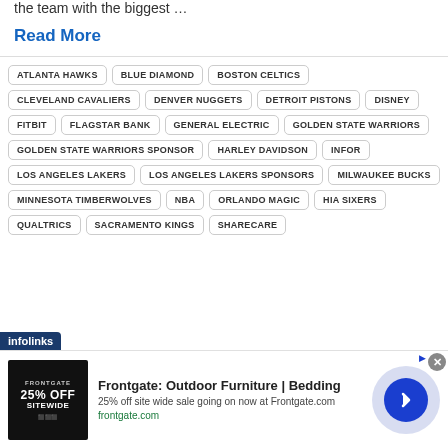the team with the biggest …
Read More
ATLANTA HAWKS
BLUE DIAMOND
BOSTON CELTICS
CLEVELAND CAVALIERS
DENVER NUGGETS
DETROIT PISTONS
DISNEY
FITBIT
FLAGSTAR BANK
GENERAL ELECTRIC
GOLDEN STATE WARRIORS
GOLDEN STATE WARRIORS SPONSOR
HARLEY DAVIDSON
INFOR
LOS ANGELES LAKERS
LOS ANGELES LAKERS SPONSORS
MILWAUKEE BUCKS
MINNESOTA TIMBERWOLVES
NBA
ORLANDO MAGIC
HIA SIXERS
QUALTRICS
SACRAMENTO KINGS
SHARECARE
[Figure (screenshot): Advertisement for Frontgate Outdoor Furniture and Bedding with 25% off sitewide sale]